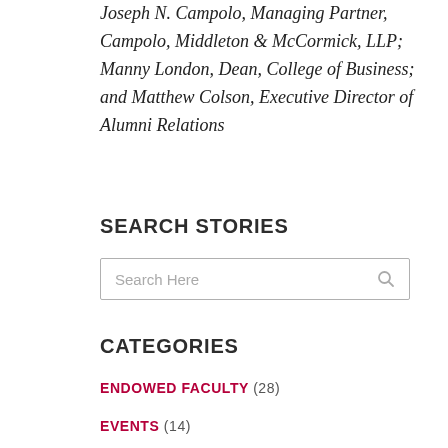Joseph N. Campolo, Managing Partner, Campolo, Middleton & McCormick, LLP; Manny London, Dean, College of Business; and Matthew Colson, Executive Director of Alumni Relations
SEARCH STORIES
[Figure (other): Search input box with placeholder text 'Search Here' and a search icon on the right]
CATEGORIES
ENDOWED FACULTY (28)
EVENTS (14)